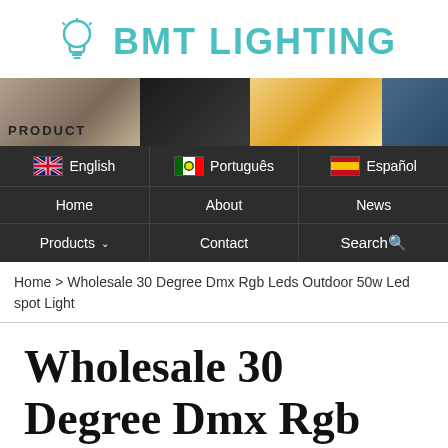BMT LIGHTING
[Figure (photo): Banner image showing product lighting scenes including staircase lighting, dark background, warm glow light, and blue-toned architectural lighting with PRODUCT text overlay]
[Figure (infographic): Navigation bar with language options (English UK flag, Português Portugal flag, Español Spain flag) and menu items (Home, About, News, Products, Contact, Search)]
Home > Wholesale 30 Degree Dmx Rgb Leds Outdoor 50w Led spot Light
Wholesale 30 Degree Dmx Rgb Leds Outdoor 50w Led Spot Light